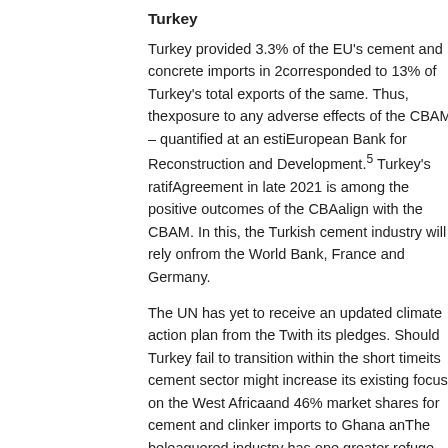Turkey
Turkey provided 3.3% of the EU's cement and concrete imports in 2... corresponded to 13% of Turkey's total exports of the same. Thus, th... exposure to any adverse effects of the CBAM – quantified at an esti... European Bank for Reconstruction and Development.5 Turkey's ratif... Agreement in late 2021 is among the positive outcomes of the CBA... align with the CBAM. In this, the Turkish cement industry will rely on... from the World Bank, France and Germany.
The UN has yet to receive an updated climate action plan from the T... with its pledges. Should Turkey fail to transition within the short time... its cement sector might increase its existing focus on the West Africa... and 46% market shares for cement and clinker imports to Ghana an... The beleaguered industry has one greater refuge still: the US marke... Turkish cement exports in 2020.
North America
Discussions of the CBAM's impacts in Canada and the US are tied t... deliberations over possible adjustment mechanisms of their own. At... and states are responsible for implementing carbon pricing. An inter... scheme, called the Western Climate Initiative, already exists betwee... and the Canadian province of Quebec. The Canadian government is... federal Border Carbon Adjustment (BCA) credits in the context of ec...